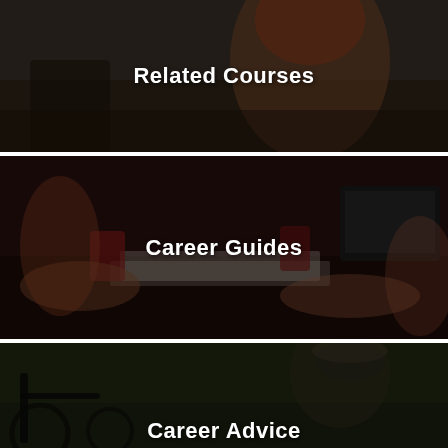[Figure (photo): Woman with curly red hair studying/working, dark overlay background, labeled 'Related Courses']
[Figure (photo): People working around a table with laptops, notebooks, and drinks, dark red overlay, labeled 'Career Guides']
[Figure (photo): Person outdoors with bicycle and headphones, dark green overlay, labeled 'Career Advice']